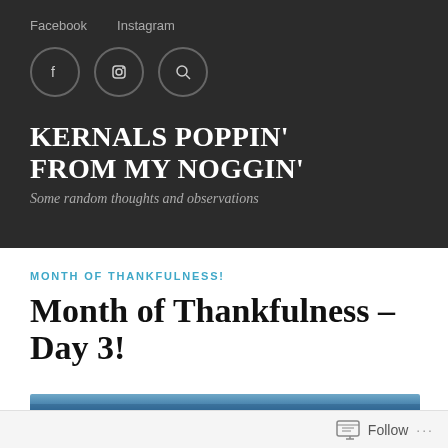Facebook   Instagram
KERNALS POPPIN' FROM MY NOGGIN'
Some random thoughts and observations
MONTH OF THANKFULNESS!
Month of Thankfulness – Day 3!
[Figure (photo): Blue sky photograph strip at the bottom of the content area]
Follow ...